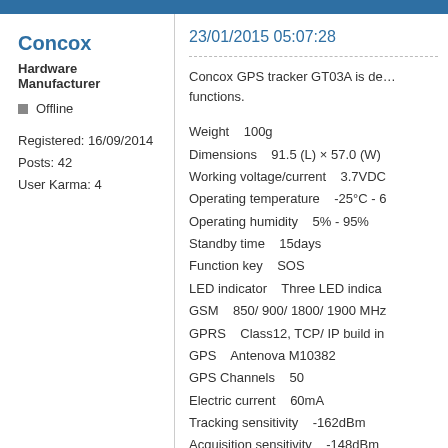Concox
Hardware Manufacturer
Offline
Registered: 16/09/2014
Posts: 42
User Karma: 4
23/01/2015 05:07:28
Concox GPS tracker GT03A is de… functions.
Weight    100g
Dimensions    91.5 (L) × 57.0 (W)
Working voltage/current    3.7VDC
Operating temperature    -25°C - 6
Operating humidity    5% - 95%
Standby time    15days
Function key    SOS
LED indicator    Three LED indica
GSM    850/ 900/ 1800/ 1900 MHz
GPRS    Class12, TCP/ IP build in
GPS    Antenova M10382
GPS Channels    50
Electric current    60mA
Tracking sensitivity    -162dBm
Acquisition sensitivity    -148dBm
Locating time cost    Hot start: <1
Warm start: <15 sec
Cold start: <30 sec□open sky□